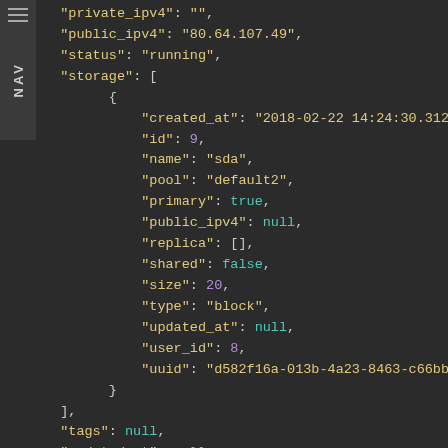[Figure (screenshot): Dark-themed code editor screenshot showing JSON data with syntax highlighting. Keys in yellow, string values in yellow, numbers and booleans/nulls in purple/teal. Contains fields: private_ipv4, public_ipv4, status, storage array with object containing created_at, id, name, pool, primary, public_ipv4, replica, shared, size, type, updated_at, user_id, uuid fields, followed by tags, updated_at, user_id, username, uuid fields.]